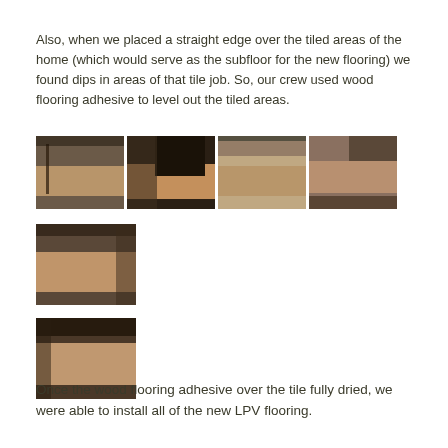Also, when we placed a straight edge over the tiled areas of the home (which would serve as the subfloor for the new flooring) we found dips in areas of that tile job. So, our crew used wood flooring adhesive to level out the tiled areas.
[Figure (photo): Four photos showing wood flooring adhesive applied over tiled floor areas]
[Figure (photo): One photo showing adhesive applied on floor tile]
[Figure (photo): One photo showing adhesive leveling on floor]
Once the wood flooring adhesive over the tile fully dried, we were able to install all of the new LPV flooring.
[Figure (photo): Four photos showing new LPV flooring installation]